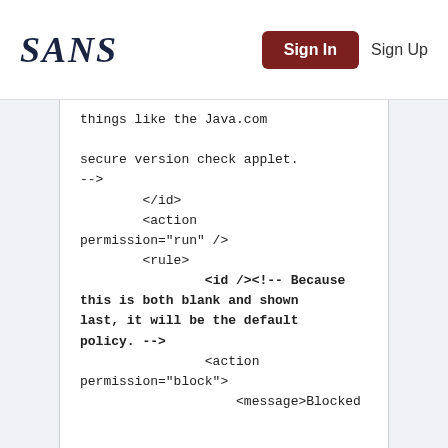SANS | Sign In | Sign Up
things like the Java.com

secure version check applet.
-->
        </id>
        <action permission="run" />
        <rule>
                <id /><!-- Because this is both blank and shown last, it will be the default policy. -->
                <action permission="block">
                        <message>Blocked